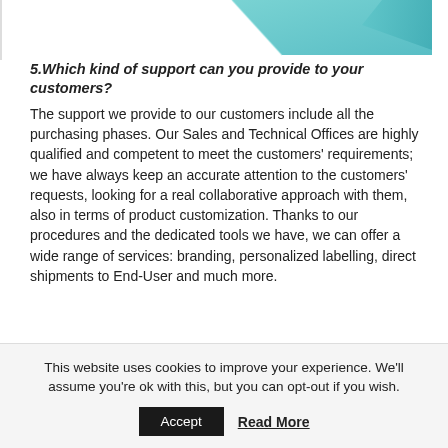[Figure (photo): Partial image of a product box with teal/blue-green color, cropped at top of page]
5.Which kind of support can you provide to your customers?
The support we provide to our customers include all the purchasing phases. Our Sales and Technical Offices are highly qualified and competent to meet the customers' requirements; we have always keep an accurate attention to the customers' requests, looking for a real collaborative approach with them, also in terms of product customization. Thanks to our procedures and the dedicated tools we have, we can offer a wide range of services: branding, personalized labelling, direct shipments to End-User and much more.
This website uses cookies to improve your experience. We'll assume you're ok with this, but you can opt-out if you wish.